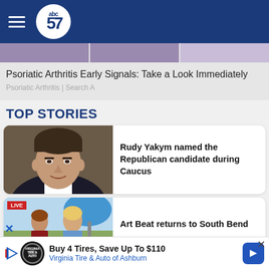abc57
Psoriatic Arthritis Early Signals: Take a Look Immediately
Psoriatic Arthritis | Search A
TOP STORIES
[Figure (photo): Headshot of Rudy Yakym, a man in a suit]
Rudy Yakym named the Republican candidate during Caucus
[Figure (photo): Two women outdoors, live news segment banner visible]
Art Beat returns to South Bend
Buy 4 Tires, Save Up To $110
Virginia Tire & Auto of Ashburn